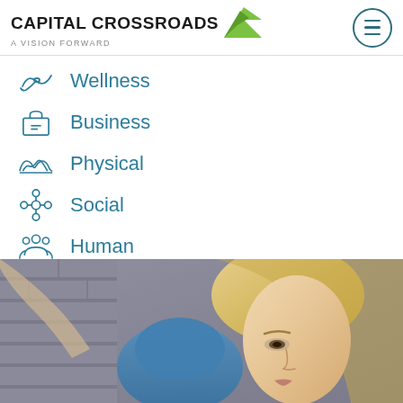[Figure (logo): Capital Crossroads - A Vision Forward logo with green arrow]
Wellness
Business
Physical
Social
Human
[Figure (photo): Woman with blonde hair doing exercise or wellness activity with blue equipment]